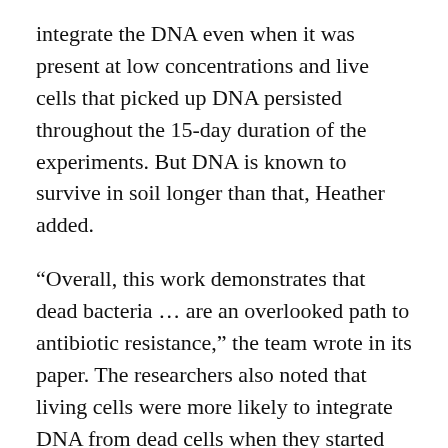integrate the DNA even when it was present at low concentrations and live cells that picked up DNA persisted throughout the 15-day duration of the experiments. But DNA is known to survive in soil longer than that, Heather added.
“Overall, this work demonstrates that dead bacteria … are an overlooked path to antibiotic resistance,” the team wrote in its paper. The researchers also noted that living cells were more likely to integrate DNA from dead cells when they started off closer to it, which wasn’t surprising. Living cells need to touch the DNA in order to collect it.
What was surprising, though, was the role of soil